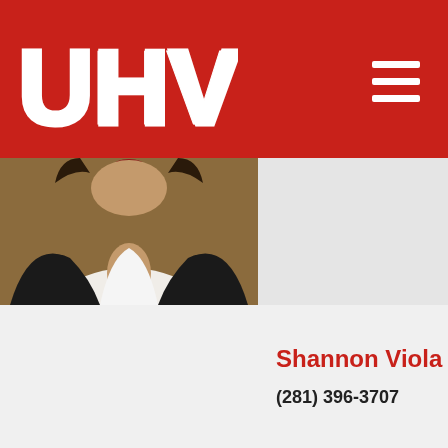UHV
[Figure (photo): Cropped portrait photo of a woman in a black blazer and white blouse, showing chin/neck area only, on a warm brown background]
[Figure (photo): Portrait photo of Shannon Viola, a woman with dark layered hair, smiling, wearing a dark blazer, on a grey background]
Shannon Viola
(281) 396-3707